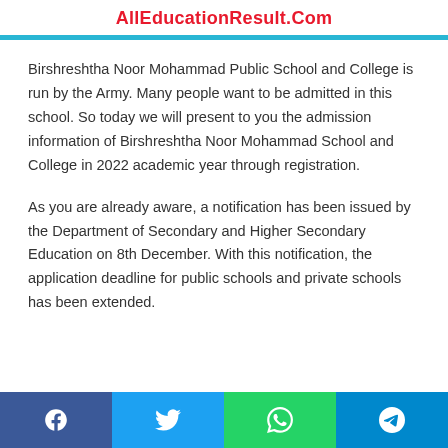AllEducationResult.Com
Birshreshtha Noor Mohammad Public School and College is run by the Army. Many people want to be admitted in this school. So today we will present to you the admission information of Birshreshtha Noor Mohammad School and College in 2022 academic year through registration.
As you are already aware, a notification has been issued by the Department of Secondary and Higher Secondary Education on 8th December. With this notification, the application deadline for public schools and private schools has been extended.
Social share buttons: Facebook, Twitter, WhatsApp, Telegram